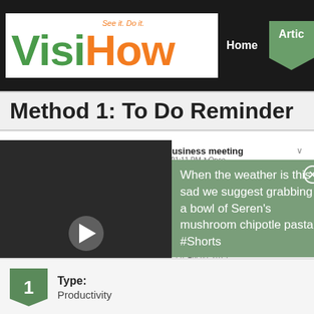VisiHow — See it. Do it. | Home | Articles
Method 1: To Do Reminder
[Figure (screenshot): Mobile app screenshot showing a To Do reminder app with categories: Upcoming, Someday (No Date), History. Tasks listed: Business meeting (01:11 PM Once, Thu Apr 02, 2015), Electricity Bill Payment (02:00 PM 1 month, Thu Apr 02, 2015), Tomorrow's Tasks (orange header), Good Morning (07:10 AM 1day, Fri Apr 03, 2015). Below is a video thumbnail with play button and a promo overlay: 'When the weather is this sad we suggest grabbing a bowl of Seren's mushroom chipotle pasta #Shorts']
Type: Productivity